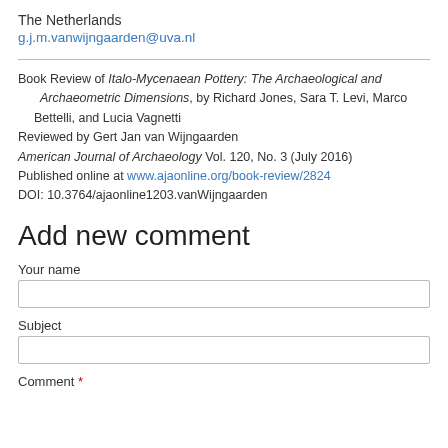The Netherlands
g.j.m.vanwijngaarden@uva.nl
Book Review of Italo-Mycenaean Pottery: The Archaeological and Archaeometric Dimensions, by Richard Jones, Sara T. Levi, Marco Bettelli, and Lucia Vagnetti
Reviewed by Gert Jan van Wijngaarden
American Journal of Archaeology Vol. 120, No. 3 (July 2016)
Published online at www.ajaonline.org/book-review/2824
DOI: 10.3764/ajaonline1203.vanWijngaarden
Add new comment
Your name
Subject
Comment *